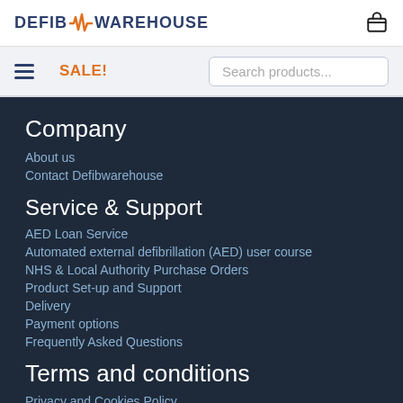DEFIB WAREHOUSE
SALE!
Search products...
Company
About us
Contact Defibwarehouse
Service & Support
AED Loan Service
Automated external defibrillation (AED) user course
NHS & Local Authority Purchase Orders
Product Set-up and Support
Delivery
Payment options
Frequently Asked Questions
Terms and conditions
Privacy and Cookies Policy